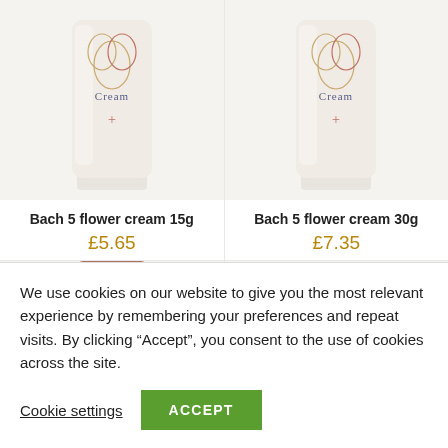[Figure (photo): Bach 5 flower cream 15g product tube, white/cream colored, with decorative logo and text 'Cream' and a plus sign]
Bach 5 flower cream 15g
£5.65
[Figure (photo): Bach 5 flower cream 30g product tube, white/cream colored, with decorative logo and text 'Cream' and a plus sign]
Bach 5 flower cream 30g
£7.35
We use cookies on our website to give you the most relevant experience by remembering your preferences and repeat visits. By clicking “Accept”, you consent to the use of cookies across the site.
Cookie settings
ACCEPT